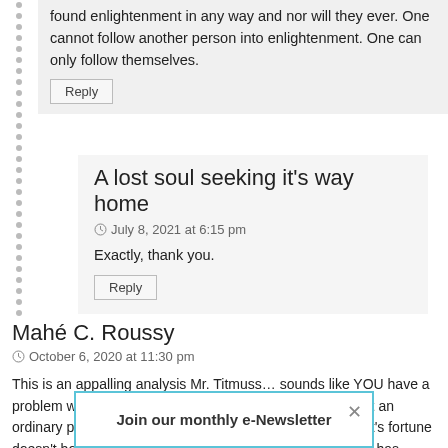found enlightenment in any way and nor will they ever. One cannot follow another person into enlightenment. One can only follow themselves.
Reply
A lost soul seeking it's way home
July 8, 2021 at 6:15 pm
Exactly, thank you.
Reply
Mahé C. Roussy
October 6, 2020 at 11:30 pm
This is an appalling analysis Mr. Titmuss… sounds like YOU have a problem with Eckart's money and success… ? See I'm just an ordinary person living on a small health pension but Eckart's fortune doesn't bother me… he is a great teacher and his success has brought h... dishonest wa... the person w...
Join our monthly e-Newsletter